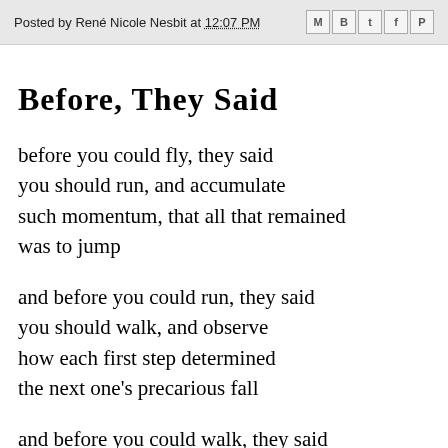Posted by René Nicole Nesbit at 12:07 PM
BEFORE, THEY SAID
before you could fly, they said
you should run, and accumulate
such momentum, that all that remained
was to jump
and before you could run, they said
you should walk, and observe
how each first step determined
the next one's precarious fall
and before you could walk, they said
you should crawl, and accept